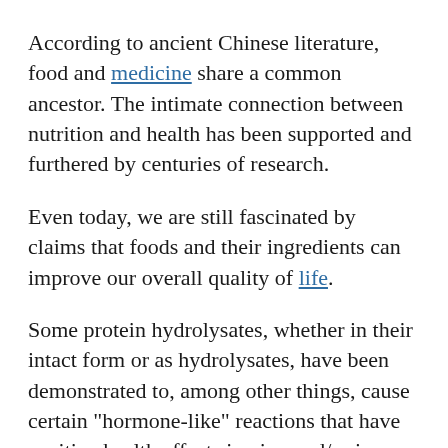According to ancient Chinese literature, food and medicine share a common ancestor. The intimate connection between nutrition and health has been supported and furthered by centuries of research.
Even today, we are still fascinated by claims that foods and their ingredients can improve our overall quality of life.
Some protein hydrolysates, whether in their intact form or as hydrolysates, have been demonstrated to, among other things, cause certain "hormone-like" reactions that have positive health effects in vivo and/or in vitro.
These protein hydrolysates, also referred to as bioactive peptides, contain protein fragments with the...